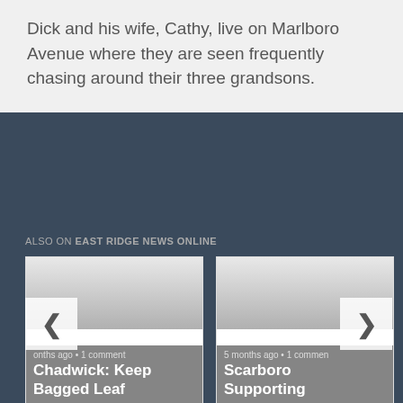Dick and his wife, Cathy, live on Marlboro Avenue where they are seen frequently chasing around their three grandsons.
ALSO ON EAST RIDGE NEWS ONLINE
[Figure (screenshot): Two news article cards side by side. Left card: 'Chadwick: Keep Bagged Leaf' with '...onths ago • 1 comment'. Right card: 'Scarboro Supporting' with '5 months ago • 1 commen...' Navigation arrows on left and right sides.]